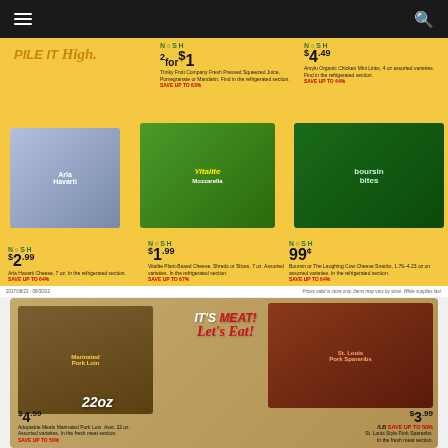Navigation bar with menu and search icons
[Figure (photo): NOSH promotional flyer - top yellow section with 'PILE IT High' headline and product deals including cheese, juice, plant-based cheese, and boursin snacks]
PILE IT High
NOSH 2 for $1 - Trinky Fruit Company Fresh Pressed Squeezed Juice, Pomegranate or Mandarin. Find in the refrigerated section. SAVE UP TO 63%
NOSH $4.49 - Amylu Organic Chicken Mini Links. Find in the refrigerated section. SAVE UP TO 44%
NOSH $2.99 - Arla Havarti Cheese, 7 oz. In the refrigerated section. SAVE UP TO 64%
NOSH $1.99 - Vitalite Plant-Based Cheese, Shreds or Slices, 7 oz. Assorted varieties. In the refrigerated section. SAVE UP TO 67%
NOSH 99¢ - Boursin or The Laughing Cow Cheese Snacks, 1.76-4.23 oz assorted varieties. In the refrigerated section. SAVE UP TO 64%
2017/08/23 - 08/30/22
Prices valid in store only. Items may vary by store. While supplies last.
[Figure (photo): IT'S MEAT! Let's Eat! promotional section with marinated pork loin sausage rolls on left and St. Louis style pork spareribs on right]
IT'S MEAT! Let's Eat!
22oz
$4.99 Adaptable Meals Marinated Pork Loin. Asst. 22 oz. Assorted varieties. In the fresh meat section. SAVE UP TO 50%
$3.99/LB St. Louis Style Pork Spareribs. In the fresh meat section. SAVE UP TO 50%
[Figure (photo): Bottom section showing Smart Ones frozen meals, sausage links, and other refrigerated products]